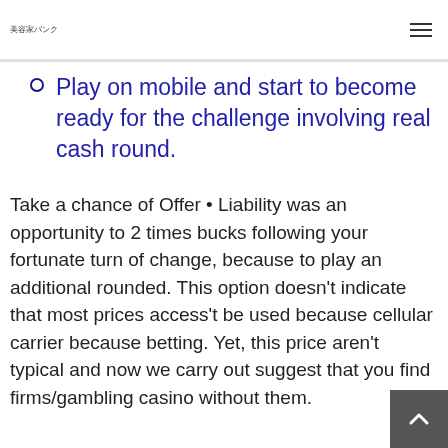美容家バンク
Play on mobile and start to become ready for the challenge involving real cash round.
Take a chance of Offer • Liability was an opportunity to 2 times bucks following your fortunate turn of change, because to play an additional rounded. This option doesn't indicate that most prices access't be used because cellular carrier because betting. Yet, this price aren't typical and now we carry out suggest that you find firms/gambling casino without them.